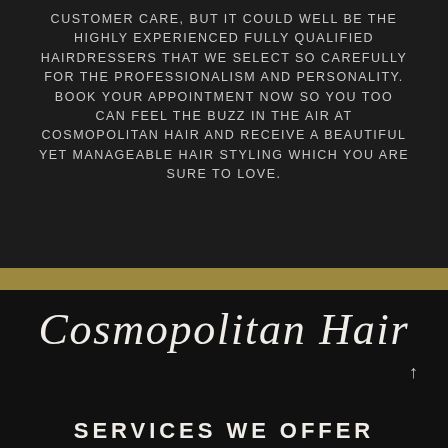CUSTOMER CARE, BUT IT COULD WELL BE THE HIGHLY EXPERIENCED FULLY QUALIFIED HAIRDRESSERS THAT WE SELECT SO CAREFULLY FOR THE PROFESSIONALISM AND PERSONALITY. BOOK YOUR APPOINTMENT NOW SO YOU TOO CAN FEEL THE BUZZ IN THE AIR AT COSMOPOLITAN HAIR AND RECEIVE A BEAUTIFUL YET MANAGEABLE HAIR STYLING WHICH YOU ARE SURE TO LOVE.
Cosmopolitan Hair
SERVICES WE OFFER